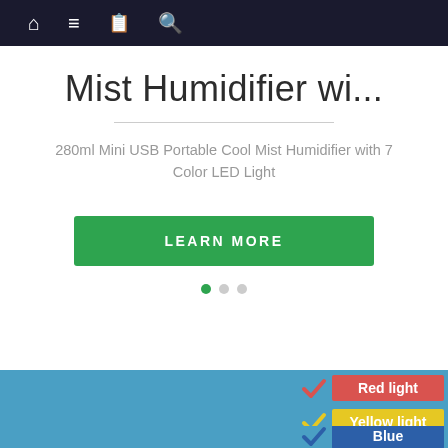Navigation bar with home, menu, book, and search icons
Mist Humidifier wi...
280ml Mini USB Portable Cool Mist Humidifier with 7 Color LED Light
LEARN MORE
[Figure (infographic): Color options checklist on blue background: Red light (red check, red label), Yellow light (yellow check, yellow label), Blue (blue check, blue label), Green (green label, partially visible). Green 'Top' circle popup and mail icon popup also visible.]